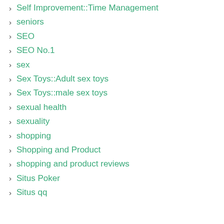Self Improvement::Time Management
seniors
SEO
SEO No.1
sex
Sex Toys::Adult sex toys
Sex Toys::male sex toys
sexual health
sexuality
shopping
Shopping and Product
shopping and product reviews
Situs Poker
Situs qq